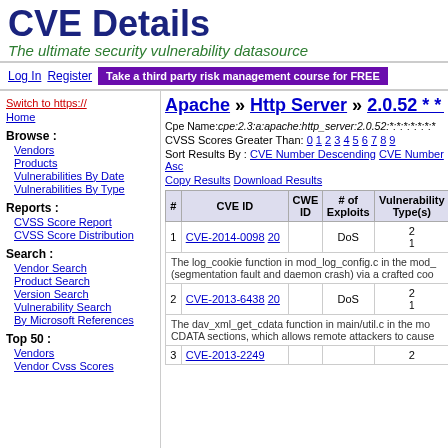CVE Details
The ultimate security vulnerability datasource
Log In  Register  Take a third party risk management course for FREE
Switch to https://
Home
Browse :
Vendors
Products
Vulnerabilities By Date
Vulnerabilities By Type
Reports :
CVSS Score Report
CVSS Score Distribution
Search :
Vendor Search
Product Search
Version Search
Vulnerability Search
By Microsoft References
Top 50 :
Vendors
Vendor Cvss Scores
Apache » Http Server » 2.0.52 * * * : S
Cpe Name:cpe:2.3:a:apache:http_server:2.0.52:*:*:*:*:*:*:
CVSS Scores Greater Than: 0 1 2 3 4 5 6 7 8 9
Sort Results By : CVE Number Descending  CVE Number Asc
Copy Results  Download Results
| # | CVE ID | CWE ID | # of Exploits | Vulnerability Type(s) |  |
| --- | --- | --- | --- | --- | --- |
| 1 | CVE-2014-0098 20 |  | DoS | 2 | 1 |
|  | The log_cookie function in mod_log_config.c in the mod_ (segmentation fault and daemon crash) via a crafted coo |  |  |  |  |
| 2 | CVE-2013-6438 20 |  | DoS | 2 | 1 |
|  | The dav_xml_get_cdata function in main/util.c in the mo CDATA sections, which allows remote attackers to cause |  |  |  |  |
| 3 | CVE-2013-2249 |  |  | 2 |  |